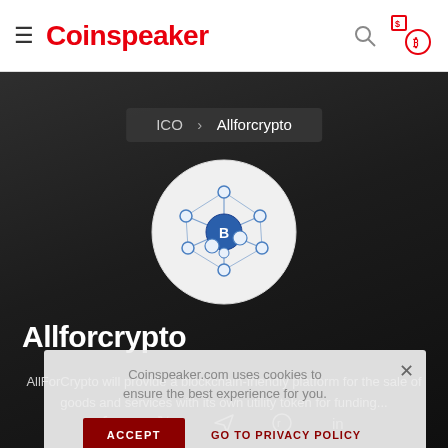Coinspeaker
ICO > Allforcrypto
[Figure (logo): Allforcrypto blockchain network logo — circular white badge with blue network nodes and a Bitcoin B symbol in the center]
Allforcrypto
AllForCrypto will provide a blockchain-friendly platform for the sale of goods and services with its own utility token for funding...
Coinspeaker.com uses cookies to ensure the best experience for you.
ACCEPT   GO TO PRIVACY POLICY